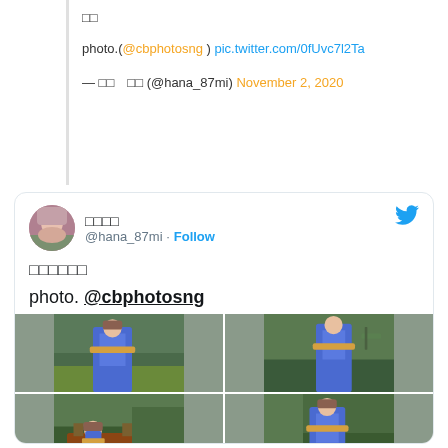□□
photo.(@cbphotosng ) pic.twitter.com/0fUvc7l2Ta
— □□　□□ (@hana_87mi) November 2, 2020
[Figure (screenshot): Embedded tweet card from @hana_87mi showing Japanese text, 'photo. @cbphotosng', and a 2x2 photo grid of a woman in a blue denim jacket with an orange scarf in a green outdoor setting.]